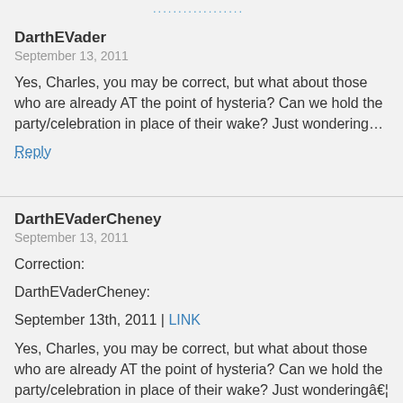..................
DarthEVader
September 13, 2011
Yes, Charles, you may be correct, but what about those who are already AT the point of hysteria? Can we hold the party/celebration in place of their wake? Just wondering…
Reply
DarthEVaderCheney
September 13, 2011
Correction:
DarthEVaderCheney:
September 13th, 2011 | LINK
Yes, Charles, you may be correct, but what about those who are already AT the point of hysteria? Can we hold the party/celebration in place of their wake? Just wonderingâ€¦
Reply